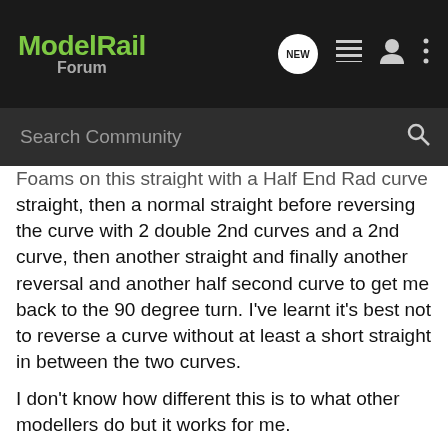Model Rail Forum
Search Community
Foams on this straight with a Half End Rad curve to the right of straight, then a normal straight before reversing the curve with 2 double 2nd curves and a 2nd curve, then another straight and finally another reversal and another half second curve to get me back to the 90 degree turn. I've learnt it's best not to reverse a curve without at least a short straight in between the two curves.
I don't know how different this is to what other modellers do but it works for me.
I've spent more time today running trains from the fiddle to the mainline and it's not as smooth as I would like, nor is the hand room sufficient to switch some loco's from one end of a rake to the other. I can see more changes being made in the near future.
For me building my layout is a relaxation experience, part of that being the problem solving. I think I would get bored if I